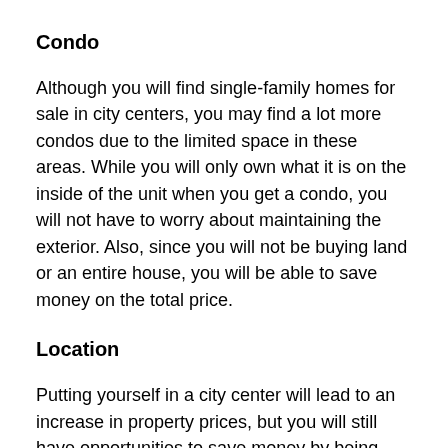Condo
Although you will find single-family homes for sale in city centers, you may find a lot more condos due to the limited space in these areas. While you will only own what it is on the inside of the unit when you get a condo, you will not have to worry about maintaining the exterior. Also, since you will not be buying land or an entire house, you will be able to save money on the total price.
Location
Putting yourself in a city center will lead to an increase in property prices, but you will still have opportunities to save money by being strategical with picking an exact location. Instead of demanding all the best